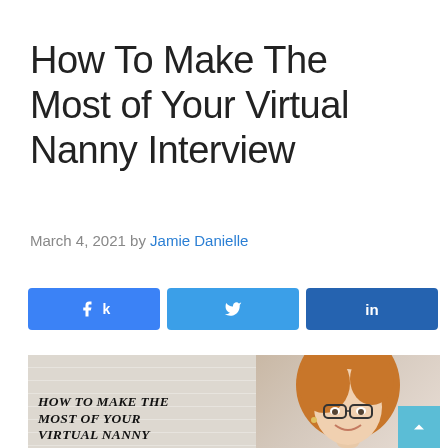How To Make The Most of Your Virtual Nanny Interview
March 4, 2021 by Jamie Danielle
[Figure (infographic): Social share buttons: Facebook (k icon), Twitter (bird icon), LinkedIn (in icon), and share count showing 0 SHARES]
[Figure (photo): Article header image showing text 'HOW TO MAKE THE MOST OF YOUR VIRTUAL NANNY' on left side with a woman wearing glasses smiling on right side]